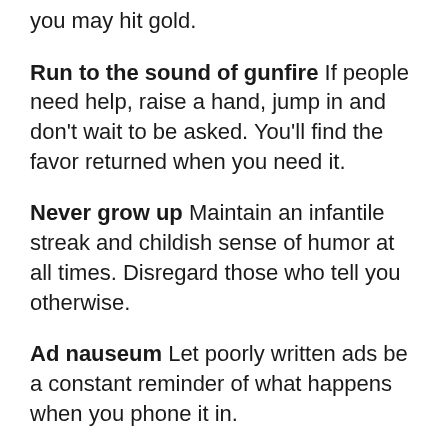you may hit gold.
Run to the sound of gunfire If people need help, raise a hand, jump in and don't wait to be asked. You'll find the favor returned when you need it.
Never grow up Maintain an infantile streak and childish sense of humor at all times. Disregard those who tell you otherwise.
Ad nauseum Let poorly written ads be a constant reminder of what happens when you phone it in.